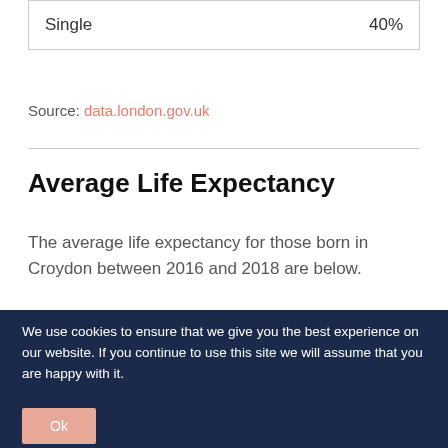| Single | 40% |
Source: data.london.gov.uk
Average Life Expectancy
The average life expectancy for those born in Croydon between 2016 and 2018 are below.
We use cookies to ensure that we give you the best experience on our website. If you continue to use this site we will assume that you are happy with it.